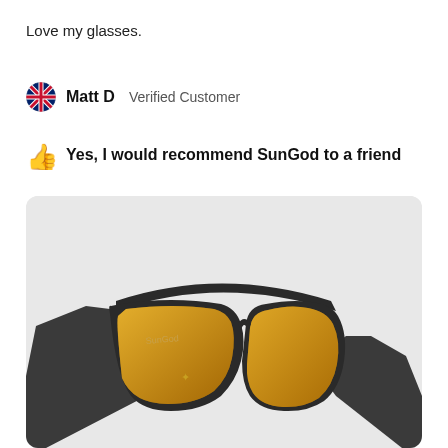Love my glasses.
Matt D   Verified Customer
Yes, I would recommend SunGod to a friend
[Figure (photo): Photo of SunGod sunglasses with dark matte black frames and gold/amber lenses, viewed from a low angle on a light grey background. A small gold four-leaf clover logo is visible on the left temple arm.]